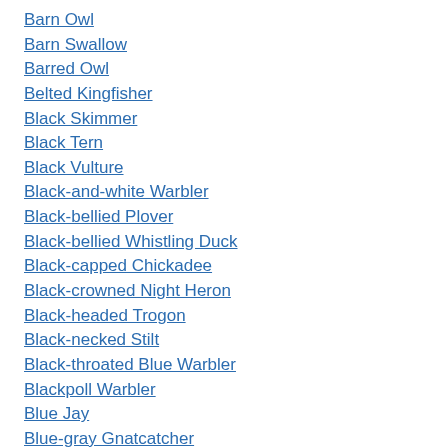Barn Owl
Barn Swallow
Barred Owl
Belted Kingfisher
Black Skimmer
Black Tern
Black Vulture
Black-and-white Warbler
Black-bellied Plover
Black-bellied Whistling Duck
Black-capped Chickadee
Black-crowned Night Heron
Black-headed Trogon
Black-necked Stilt
Black-throated Blue Warbler
Blackpoll Warbler
Blue Jay
Blue-gray Gnatcatcher
Blue-gray Tanager